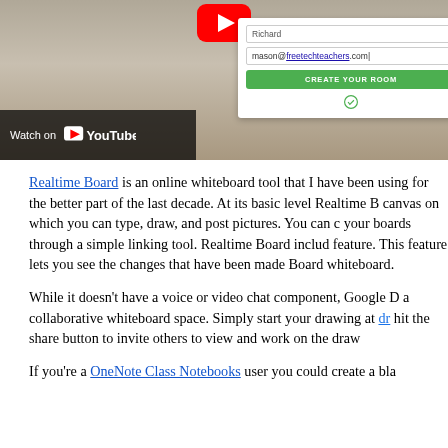[Figure (screenshot): Screenshot of a YouTube video thumbnail showing a Realtime Board room creation form with fields for 'Richard' and 'mason@freetechteachers.com', a green 'CREATE YOUR ROOM' button, and a 'Watch on YouTube' badge over a blurred room background.]
Realtime Board is an online whiteboard tool that I have been using for the better part of the last decade. At its basic level Realtime Board is a canvas on which you can type, draw, and post pictures. You can connect your boards through a simple linking tool. Realtime Board includes a history feature. This feature lets you see the changes that have been made to a Realtime Board whiteboard.
While it doesn't have a voice or video chat component, Google Drive offers a collaborative whiteboard space. Simply start your drawing at drawing.google.com and hit the share button to invite others to view and work on the drawing with you.
If you're a OneNote Class Notebooks user you could create a blank...